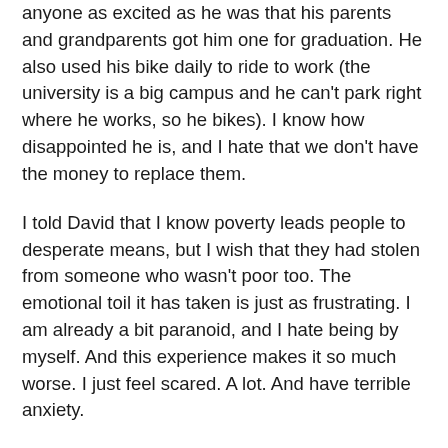anyone as excited as he was that his parents and grandparents got him one for graduation. He also used his bike daily to ride to work (the university is a big campus and he can't park right where he works, so he bikes). I know how disappointed he is, and I hate that we don't have the money to replace them.
I told David that I know poverty leads people to desperate means, but I wish that they had stolen from someone who wasn't poor too. The emotional toil it has taken is just as frustrating. I am already a bit paranoid, and I hate being by myself. And this experience makes it so much worse. I just feel scared. A lot. And have terrible anxiety.
We were trying to pick up the pieces of our lives, when we received the shocking phone call the next day bearing the incredibly sad news that my sister-in-law, who married my brother last August, passed away in a freak accident that morning. She passed out at work and fell into a glass shelf, and an 8" piece of glass severed her aorta. We drove up to where my family lives, about 4.5 hours north of here, that evening to be with my family. The next week was somewhat